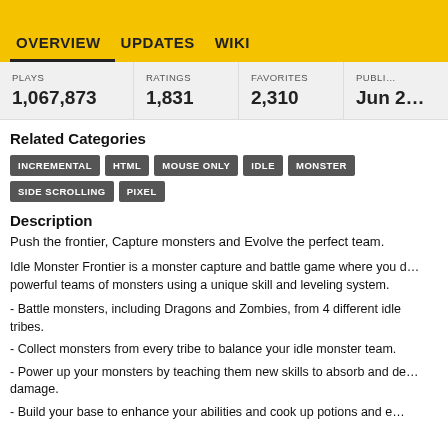OVERVIEW   UPDATES   WIKI
| PLAYS | RATINGS | FAVORITES | PUBLI… |
| --- | --- | --- | --- |
| 1,067,873 | 1,831 | 2,310 | Jun 2… |
Related Categories
INCREMENTAL
HTML
MOUSE ONLY
IDLE
MONSTER
SIDE SCROLLING
PIXEL
Description
Push the frontier, Capture monsters and Evolve the perfect team.
Idle Monster Frontier is a monster capture and battle game where you d… powerful teams of monsters using a unique skill and leveling system.
- Battle monsters, including Dragons and Zombies, from 4 different idle tribes.
- Collect monsters from every tribe to balance your idle monster team.
- Power up your monsters by teaching them new skills to absorb and de… damage.
- Build your base to enhance your abilities and cook up potions and e…